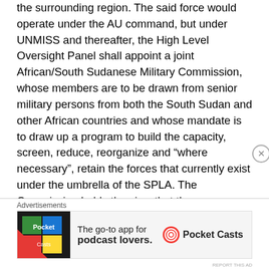the surrounding region. The said force would operate under the AU command, but under UNMISS and thereafter, the High Level Oversight Panel shall appoint a joint African/South Sudanese Military Commission, whose members are to be drawn from senior military persons from both the South Sudan and other African countries and whose mandate is to draw up a program to build the capacity, screen, reduce, reorganize and “where necessary”, retain the forces that currently exist under the umbrella of the SPLA. The Commission holds the view that the army should be diversified like the parliament through democratization process at the local level.

The Commission’s view is informed as alluded to in the
[Figure (other): Advertisement banner for Pocket Casts app: 'The go-to app for podcast lovers.' with Pocket Casts logo]